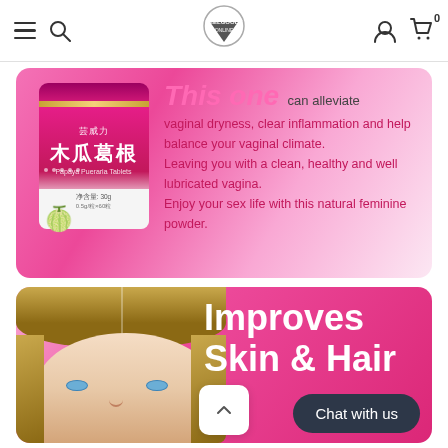Website navigation header with menu, search, logo, user account, and cart icons
[Figure (photo): Product banner showing a pink container of Papaya Pueraria Tablets (木瓜葛根) with text: 'This one can alleviate vaginal dryness, clear inflammation and help balance your vaginal climate. Leaving you with a clean, healthy and well lubricated vagina. Enjoy your sex life with this natural feminine powder.']
[Figure (photo): Banner showing a woman's face/hair with text 'Improves Skin & Hair H...' and a dark 'Chat with us' button overlay]